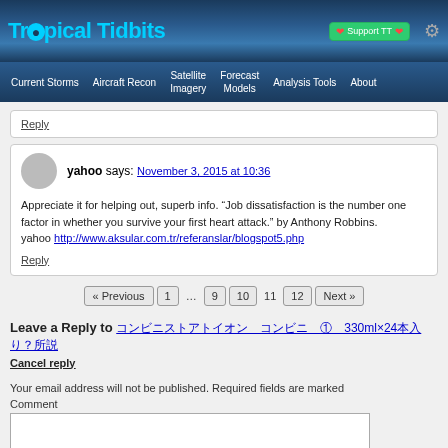Tropical Tidbits — navigation: Current Storms, Aircraft Recon, Satellite Imagery, Forecast Models, Analysis Tools, About
Reply
yahoo says: November 3, 2015 at 10:36
Appreciate it for helping out, superb info. “Job dissatisfaction is the number one factor in whether you survive your first heart attack.” by Anthony Robbins.
yahoo http://www.aksular.com.tr/referanslar/blogspot5.php
Reply
« Previous  1  …  9  10  11  12  Next »
Leave a Reply to コンビニストアトイオン コンビニ ① 330ml×24本入り?所調 Cancel reply
Your email address will not be published. Required fields are marked
Comment